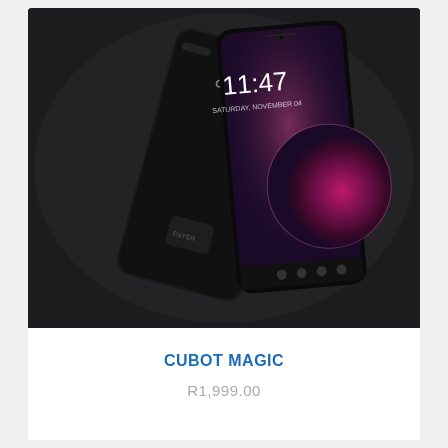[Figure (photo): Two Cubot Magic smartphones shown side by side at an angle. The back of one phone and the front of another displaying a lock screen with time 11:47 and a planet/space wallpaper in purple and pink tones. Both phones are dark/black in color.]
CUBOT MAGIC
R1,999.00